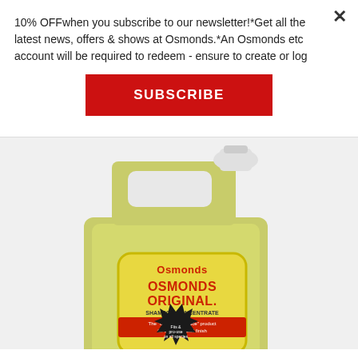10% OFFwhen you subscribe to our newsletter!*Get all the latest news, offers & shows at Osmonds.*An Osmonds etc account will be required to redeem - ensure to create or log
SUBSCRIBE
[Figure (photo): Large yellow-green plastic jug/container of Osmonds Original Shampoo Concentrate with a white cap, showing the Osmonds brand label in yellow and red with product name and description text]